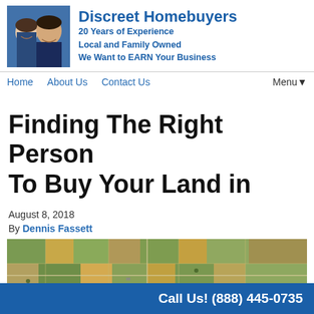[Figure (photo): Photo of a man and woman smiling, used as business header photo]
Discreet Homebuyers
20 Years of Experience
Local and Family Owned
We Want to EARN Your Business
Home   About Us   Contact Us   Menu▾
Finding The Right Person To Buy Your Land in
August 8, 2018
By Dennis Fassett
[Figure (photo): Aerial photograph of farmland showing patchwork of agricultural fields in various greens and browns]
Call Us! (888) 445-0735